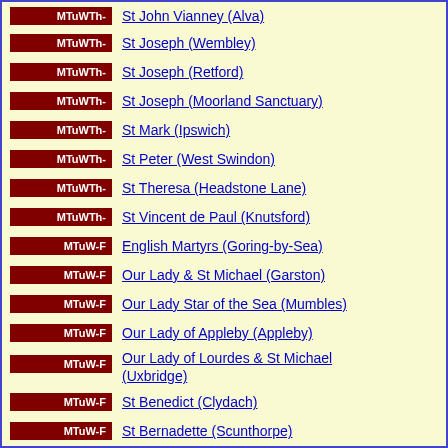MTuWTh- St John Vianney (Alva)
MTuWTh- St Joseph (Wembley)
MTuWTh- St Joseph (Retford)
MTuWTh- St Joseph (Moorland Sanctuary)
MTuWTh- St Mark (Ipswich)
MTuWTh- St Peter (West Swindon)
MTuWTh- St Theresa (Headstone Lane)
MTuWTh- St Vincent de Paul (Knutsford)
MTuW-F English Martyrs (Goring-by-Sea)
MTuW-F Our Lady & St Michael (Garston)
MTuW-F Our Lady Star of the Sea (Mumbles)
MTuW-F Our Lady of Appleby (Appleby)
MTuW-F Our Lady of Lourdes & St Michael (Uxbridge)
MTuW-F St Benedict (Clydach)
MTuW-F St Bernadette (Scunthorpe)
MTuW-F St Erconwald (Wembley)
MTuW-F St Francis of Assisi (Llay)
MTuW-F St Gregory (Longton Stoke-on-Trent)
MTuW-F St Ignatius of Loyola (Sunbury-on-Thames)